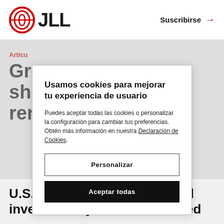JLL  Suscribirse →
Artícu...
Grey... se sho... mina rent...
Usamos cookies para mejorar tu experiencia de usuario
Puedes aceptar todas las cookies o personalizar la configuración para cambiar tus preferencias. Obtén más información en nuestra Declaración de Cookies.
Personalizar
Aceptar todas
U.S. real estate developer and investor Greystar has attracted